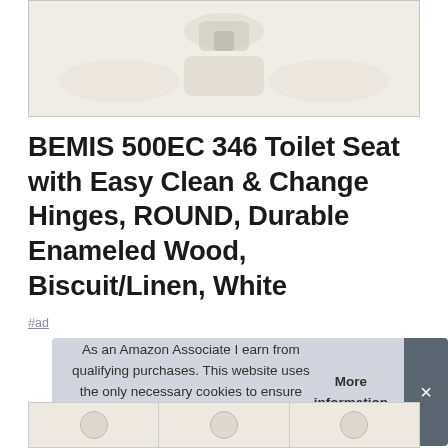[Figure (photo): Partial product photo of a BEMIS toilet seat showing hinge/hardware detail, cropped at top, beige/biscuit color on white background]
BEMIS 500EC 346 Toilet Seat with Easy Clean & Change Hinges, ROUND, Durable Enameled Wood, Biscuit/Linen, White
#ad
As an Amazon Associate I earn from qualifying purchases. This website uses the only necessary cookies to ensure you get the best experience on our website. More information
[Figure (photo): Bottom thumbnail strip showing partial product images]